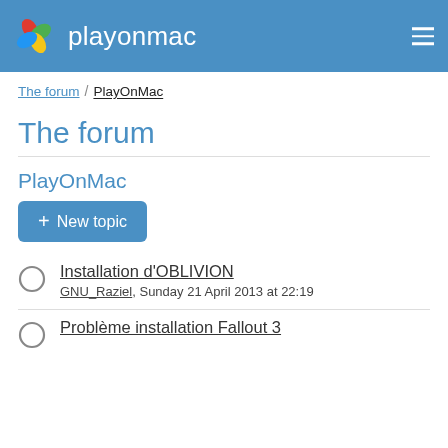playonmac
The forum / PlayOnMac
The forum
PlayOnMac
+ New topic
Installation d'OBLIVION — GNU_Raziel, Sunday 21 April 2013 at 22:19
Problème installation Fallout 3